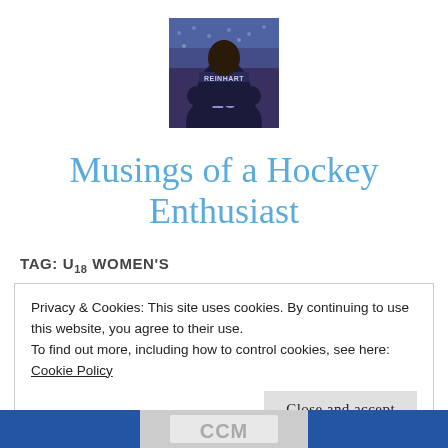[Figure (photo): Profile photo of person wearing a Reinhart #23 hockey jersey at a hockey arena, viewed from behind]
Musings of a Hockey Enthusiast
TAG: U18 WOMEN'S
Privacy & Cookies: This site uses cookies. By continuing to use this website, you agree to their use.
To find out more, including how to control cookies, see here:
Cookie Policy

Close and accept
[Figure (photo): Partial bottom image showing hockey equipment including a CCM branded item with blue and white colors]